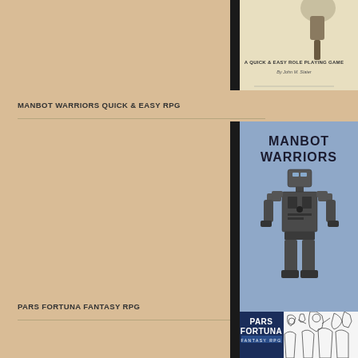MANBOT WARRIORS QUICK & EASY RPG
[Figure (illustration): Partial book cover at top - cream/beige colored cover with text 'A QUICK & EASY ROLE PLAYING GAME By John M. Slater' and a black spine strip on left]
[Figure (illustration): Book cover for Manbot Warriors - blue/grey background with large bold text 'MANBOT WARRIORS', illustration of a detailed mechanical robot/mech, text 'A QUICK & EASY MINIGAME By John M. Slater' at bottom, black spine strip on left]
PARS FORTUNA FANTASY RPG
[Figure (illustration): Book cover for Pars Fortuna Fantasy RPG - white background with dark navy blue banner containing 'PARS FORTUNA FANTASY RPG' text and line art illustration of fantasy characters, partial view at bottom of page]